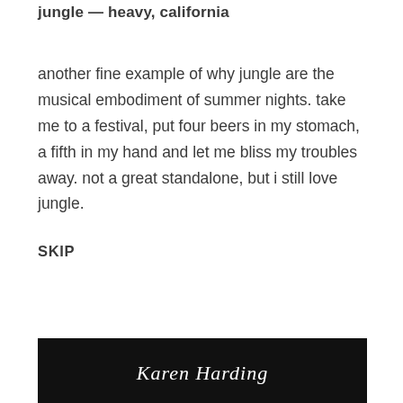jungle — heavy, california
another fine example of why jungle are the musical embodiment of summer nights. take me to a festival, put four beers in my stomach, a fifth in my hand and let me bliss my troubles away. not a great standalone, but i still love jungle.
SKIP
[Figure (photo): Black background image with a handwritten white cursive signature reading 'Karen Harding']